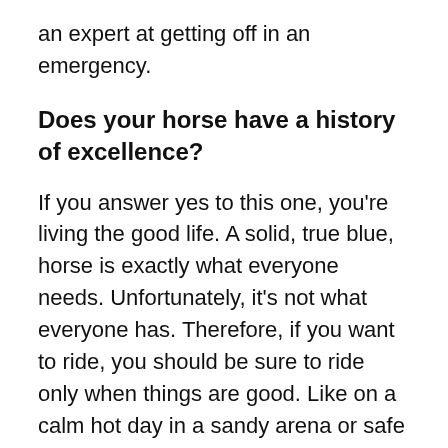an expert at getting off in an emergency.
Does your horse have a history of excellence?
If you answer yes to this one, you're living the good life. A solid, true blue, horse is exactly what everyone needs. Unfortunately, it's not what everyone has. Therefore, if you want to ride, you should be sure to ride only when things are good. Like on a calm hot day in a sandy arena or safe trail with great horse friends who also have calm horses. The good thing is, if you have a horse that